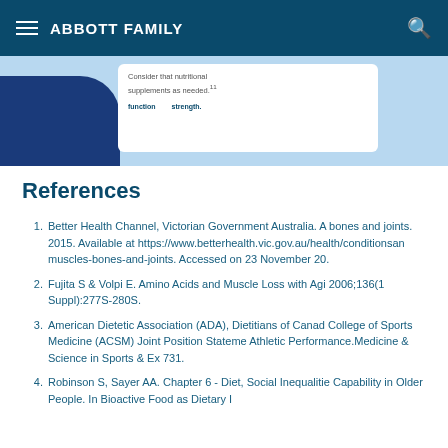ABBOTT FAMILY
[Figure (illustration): Partial view of a blue illustrated figure with a white card showing text about nutritional supplements and muscle strength, on a light blue background.]
References
Better Health Channel, Victorian Government Australia. A bones and joints. 2015. Available at https://www.betterhealth.vic.gov.au/health/conditionsan muscles-bones-and-joints. Accessed on 23 November 20.
Fujita S & Volpi E. Amino Acids and Muscle Loss with Agi 2006;136(1 Suppl):277S-280S.
American Dietetic Association (ADA), Dietitians of Canad College of Sports Medicine (ACSM) Joint Position Stateme Athletic Performance.Medicine & Science in Sports & Ex 731.
Robinson S, Sayer AA. Chapter 6 - Diet, Social Inequalitie Capability in Older People. In Bioactive Food as Dietary I